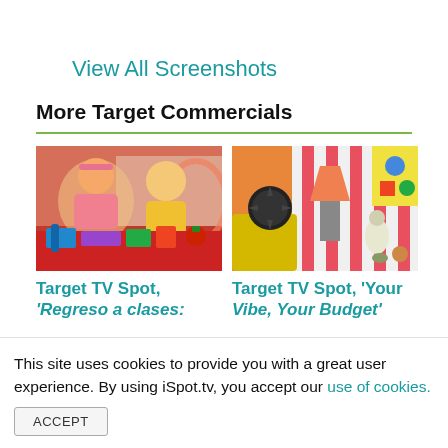View All Screenshots
More Target Commercials
[Figure (photo): Target TV commercial thumbnail showing two kids laughing at a table with school supplies]
Target TV Spot, 'Regreso a clases:
[Figure (photo): Target TV commercial thumbnail showing colorful home decor items including a lamp, bird figurine, and artwork]
Target TV Spot, 'Your Vibe, Your Budget'
This site uses cookies to provide you with a great user experience. By using iSpot.tv, you accept our use of cookies.